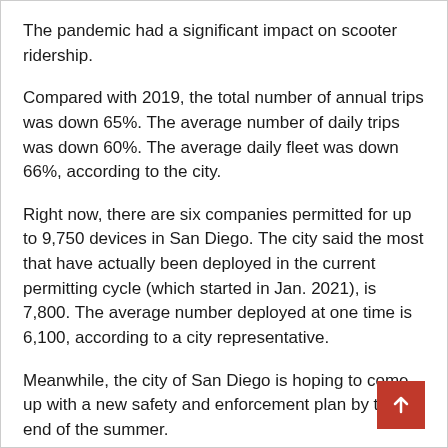The pandemic had a significant impact on scooter ridership.
Compared with 2019, the total number of annual trips was down 65%. The average number of daily trips was down 60%. The average daily fleet was down 66%, according to the city.
Right now, there are six companies permitted for up to 9,750 devices in San Diego. The city said the most that have actually been deployed in the current permitting cycle (which started in Jan. 2021), is 7,800. The average number deployed at one time is 6,100, according to a city representative.
Meanwhile, the city of San Diego is hoping to come up with a new safety and enforcement plan by the end of the summer.